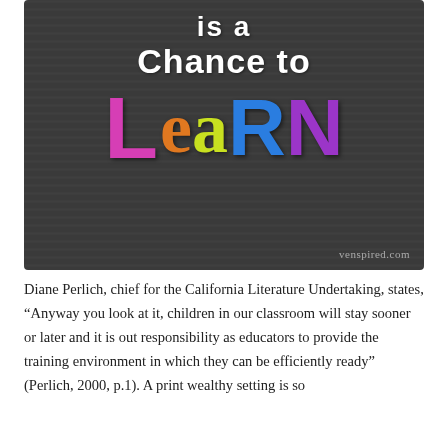[Figure (illustration): Chalkboard-style graphic on dark gray background showing 'is a Chance to LeaRN' text. 'is a' and 'Chance to' are in white chalk-style font. 'L' is in magenta/pink, 'ea' in orange and yellow-green, 'R' in blue, 'N' in purple large colorful letters. Watermark 'venspired.com' in bottom right.]
Diane Perlich, chief for the California Literature Undertaking, states, “Anyway you look at it, children in our classroom will stay sooner or later and it is out responsibility as educators to provide the training environment in which they can be efficiently ready” (Perlich, 2000, p.1). A print wealthy setting is so